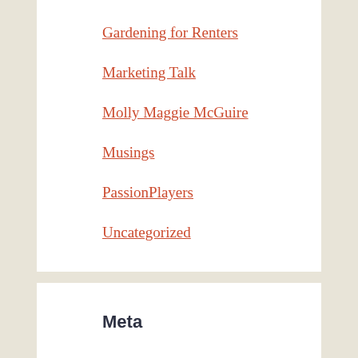Gardening for Renters
Marketing Talk
Molly Maggie McGuire
Musings
PassionPlayers
Uncategorized
Meta
Log in